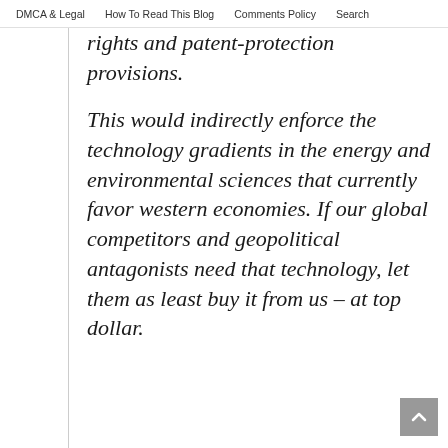DMCA & Legal | How To Read This Blog | Comments Policy | Search
rights and patent-protection provisions.
This would indirectly enforce the technology gradients in the energy and environmental sciences that currently favor western economies. If our global competitors and geopolitical antagonists need that technology, let them as least buy it from us – at top dollar.